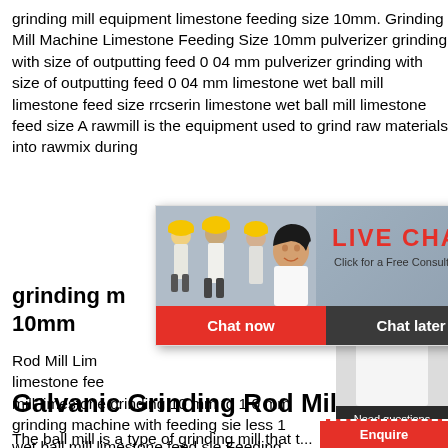grinding mill equipment limestone feeding size 10mm. Grinding Mill Machine Limestone Feeding Size 10mm pulverizer grinding with size of outputting feed 0 04 mm pulverizer grinding with size of outputting feed 0 04 mm limestone wet ball mill limestone feed size rrcserin limestone wet ball mill limestone feed size A rawmill is the equipment used to grind raw materials into rawmix during
grinding m... 10mm
Rod Mill Lim... limestone fee... mill limestone grinding 10 mm to 1 0 mm grinding machine with feeding sie less 10 wet ball mill limestone feed sie Feeding . raymond mill on rent dubai . I amp;t made mill More
[Figure (screenshot): Live chat popup overlay with workers in hard hats image, LIVE CHAT heading in red, 'Click for a Free Consultation' subtext, Chat now and Chat later buttons]
[Figure (infographic): Right side panel showing '24 Hrs Online' red bar, customer service agent with headset, 'Need questions & suggestion?' box with Chat Now button, and Enquire bar at bottom]
Galvanic Grinding Rod Mill
The ball mill is a type of grinding mill that...